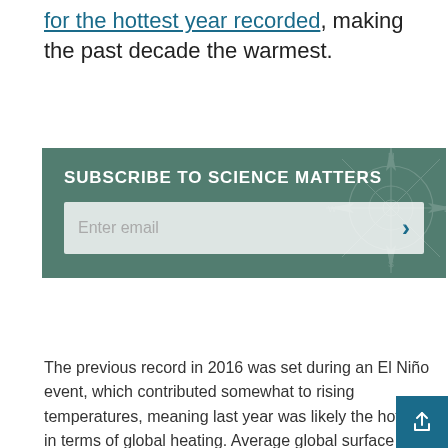for the hottest year recorded, making the past decade the warmest.
[Figure (infographic): Subscribe to Science Matters newsletter signup box with green background, email input field, and compass rose watermark graphic]
The previous record in 2016 was set during an El Niño event, which contributed somewhat to rising temperatures, meaning last year was likely the hottest in terms of global heating. Average global surface temperature was 1.25 C higher than the pre-industrial average, nearing the 1.5 C aspirational target the world's nations set under the Paris Agreement five years ago. In the Arctic and northern regions, average temperature was 3 to 6 C higher.
As the world heats up, we're experiencing ever-incre